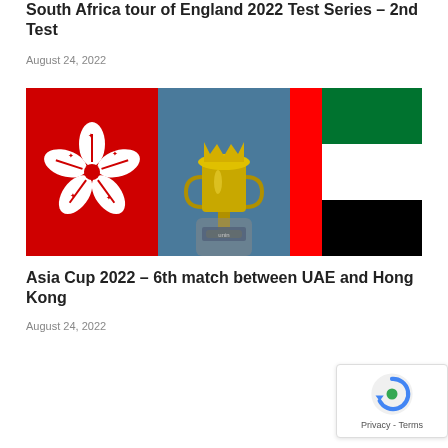South Africa tour of England 2022 Test Series – 2nd Test
August 24, 2022
[Figure (photo): A gold cricket trophy / Asia Cup trophy in the center, flanked by the Hong Kong flag (red with white bauhinia flower) on the left and the UAE flag (green, white, black horizontal stripes with red vertical bar) on the right.]
Asia Cup 2022 – 6th match between UAE and Hong Kong
August 24, 2022